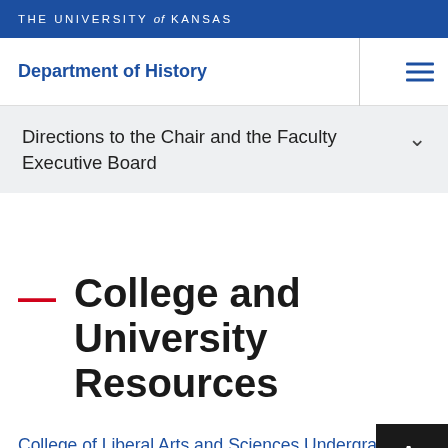THE UNIVERSITY of KANSAS
Department of History
Directions to the Chair and the Faculty Executive Board
— College and University Resources
College of Liberal Arts and Sciences Undergraduate Policies